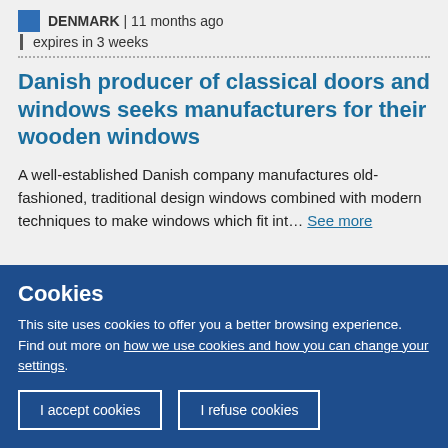DENMARK | 11 months ago
| expires in 3 weeks
Danish producer of classical doors and windows seeks manufacturers for their wooden windows
A well-established Danish company manufactures old-fashioned, traditional design windows combined with modern techniques to make windows which fit int... See more
Cookies
This site uses cookies to offer you a better browsing experience. Find out more on how we use cookies and how you can change your settings.